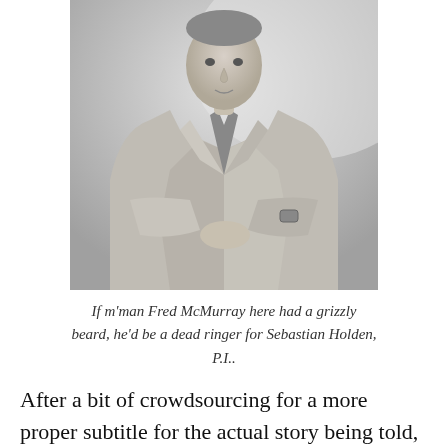[Figure (photo): Black and white photograph of a man in a trench coat, looking at his watch, posed with arms crossed/folded. The man wears a suit and tie under the coat.]
If m'man Fred McMurray here had a grizzly beard, he'd be a dead ringer for Sebastian Holden, P.I..
After a bit of crowdsourcing for a more proper subtitle for the actual story being told, I settled on a title that I think captures the...